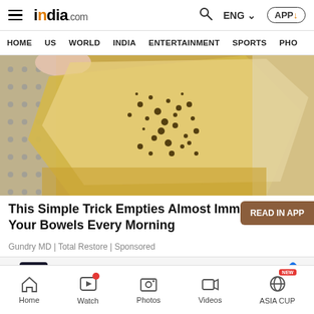india.com — HOME | US | WORLD | INDIA | ENTERTAINMENT | SPORTS | PHO
[Figure (photo): Close-up photo of a hand holding a yellow translucent substance with dark speckled granules on top, being grated or scraped. Food/health product image used in an advertisement.]
This Simple Trick Empties Almost Immediately Your Bowels Every Morning
Gundry MD | Total Restore | Sponsored
[Figure (infographic): READ IN APP button — brown rounded rectangle on the right side]
[Figure (infographic): CarMax advertisement banner. Buy Your Used Car Your Way. CarMax logo on left, blue diamond arrow icon on right.]
Home | Watch | Photos | Videos | ASIA CUP (NEW)